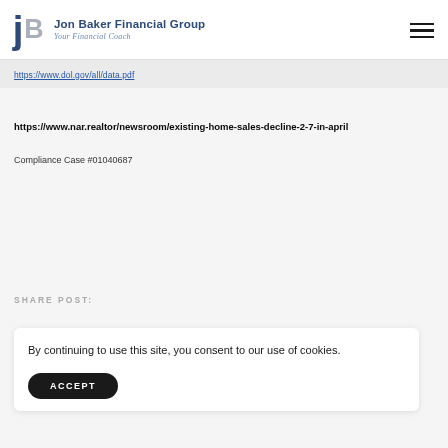Jon Baker Financial Group — Your Financial Coach
https://www.dol.gov/all/data.pdf
https://www.nar.realtor/newsroom/existing-home-sales-decline-2-7-in-april
Compliance Case #01040687
SHARE POST:
By continuing to use this site, you consent to our use of cookies.